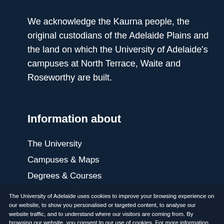We acknowledge the Kaurna people, the original custodians of the Adelaide Plains and the land on which the University of Adelaide's campuses at North Terrace, Waite and Roseworthy are built.
Information about
The University
Campuses & Maps
Degrees & Courses
Working at Adelaide
Give to Adelaide
Safe Campus Community
University Contacts
Information fo
Future Students
The University of Adelaide uses cookies to improve your browsing experience on our website, to show you personalised or targeted content, to analyse our website traffic, and to understand where our visitors are coming from. By browsing our website, you consent to our use of cookies. For more information please read our privacy statement.